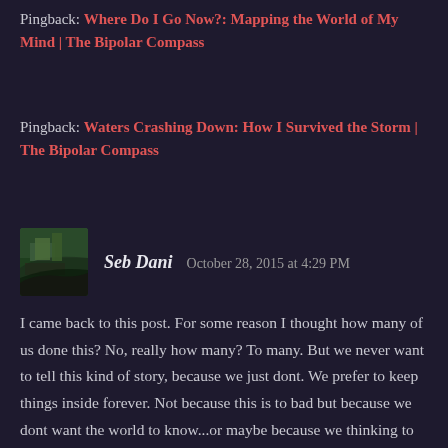Pingback: Where Do I Go Now?: Mapping the World of My Mind | The Bipolar Compass
Pingback: Waters Crashing Down: How I Survived the Storm | The Bipolar Compass
Seb Dani   October 28, 2015 at 4:29 PM
I came back to this post. For some reason I thought how many of us done this? No, really how many? To many. But we never want to tell this kind of story, because we just dont. We prefer to keep things inside forever. Not because this is to bad but because we dont want the world to know...or maybe because we thinking to do it again....
Thanks for sharing this story jess. This is a lesson to be learned.